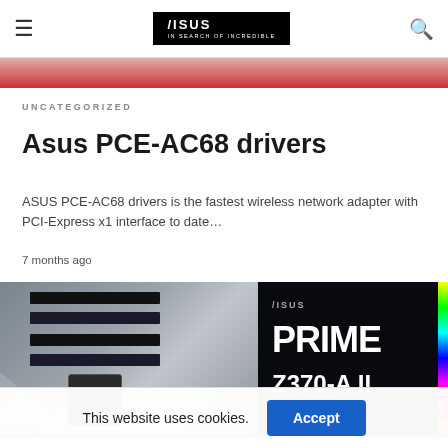ASUS — IN SEARCH OF INCREDIBLE
[Figure (screenshot): Partial red-toned product image strip below the navigation header]
UNCATEGORIZED
Asus PCE-AC68 drivers
ASUS PCE-AC68 drivers is the fastest wireless network adapter with PCI-Express x1 interface to date…
7 months ago
[Figure (photo): ASUS PRIME Z370-A II motherboard shown next to its retail box packaging with RGB lighting strip visible]
This website uses cookies.  Accept